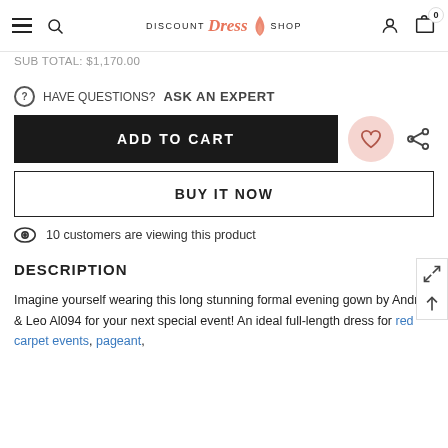Discount Dress Shop — navigation bar with hamburger, search, logo, account, cart (0)
SUB TOTAL: $1,170.00
HAVE QUESTIONS? ASK AN EXPERT
ADD TO CART
BUY IT NOW
10 customers are viewing this product
DESCRIPTION
Imagine yourself wearing this long stunning formal evening gown by Andrea & Leo Al094 for your next special event! An ideal full-length dress for red carpet events, pageant,